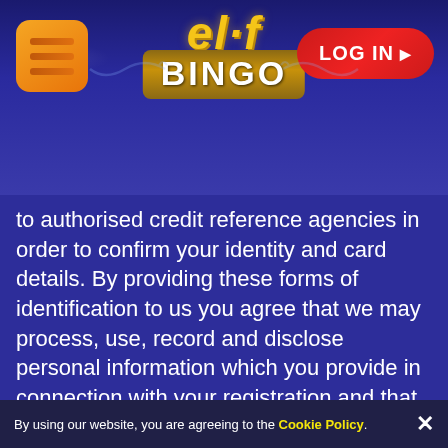[Figure (logo): Elf Bingo website header with hamburger menu icon (orange rounded square), Elf Bingo logo in center (yellow italic 'elf' text above golden 'BINGO' banner), and red LOG IN button on right]
to authorised credit reference agencies in order to confirm your identity and card details. By providing these forms of identification to us you agree that we may process, use, record and disclose personal information which you provide in connection with your registration and that such personal data may be recorded by us or them.
To ensure the information we hold on you are always up to date, we may, from time to time, re-perform our verification checks.
We are required by our licence to inform customers about what happens to funds which we hold on account for you in the event of insolvency. More information can be found
By using our website, you are agreeing to the Cookie Policy.